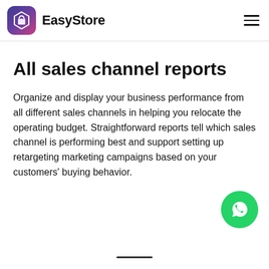EasyStore
All sales channel reports
Organize and display your business performance from all different sales channels in helping you relocate the operating budget. Straightforward reports tell which sales channel is performing best and support setting up retargeting marketing campaigns based on your customers' buying behavior.
[Figure (logo): WhatsApp contact button (green circle with WhatsApp phone icon)]